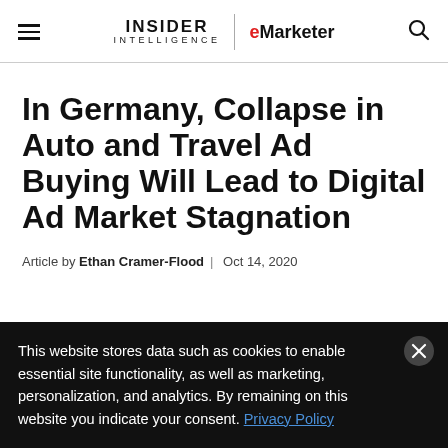Insider Intelligence | eMarketer
In Germany, Collapse in Auto and Travel Ad Buying Will Lead to Digital Ad Market Stagnation
Article by Ethan Cramer-Flood | Oct 14, 2020
This website stores data such as cookies to enable essential site functionality, as well as marketing, personalization, and analytics. By remaining on this website you indicate your consent. Privacy Policy